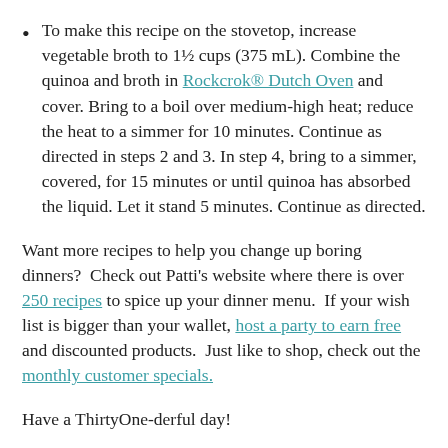To make this recipe on the stovetop, increase vegetable broth to 1½ cups (375 mL). Combine the quinoa and broth in Rockcrok® Dutch Oven and cover. Bring to a boil over medium-high heat; reduce the heat to a simmer for 10 minutes. Continue as directed in steps 2 and 3. In step 4, bring to a simmer, covered, for 15 minutes or until quinoa has absorbed the liquid. Let it stand 5 minutes. Continue as directed.
Want more recipes to help you change up boring dinners?  Check out Patti's website where there is over 250 recipes to spice up your dinner menu.  If your wish list is bigger than your wallet, host a party to earn free and discounted products.  Just like to shop, check out the monthly customer specials.
Have a ThirtyOne-derful day!